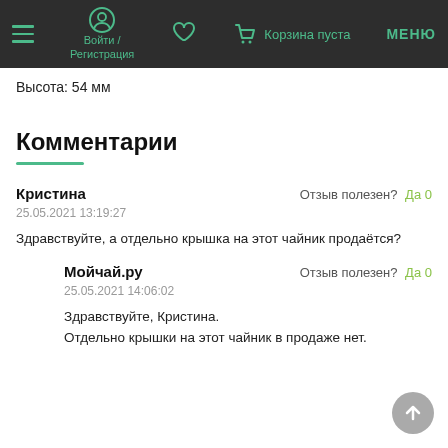Войти / Регистрация | Корзина пуста | МЕНЮ
Высота: 54 мм
Комментарии
Кристина
25.05.2021 13:19:27
Отзыв полезен? Да 0
Здравствуйте, а отдельно крышка на этот чайник продаётся?
Мойчай.ру
25.05.2021 14:06:02
Отзыв полезен? Да 0
Здравствуйте, Кристина.
Отдельно крышки на этот чайник в продаже нет.